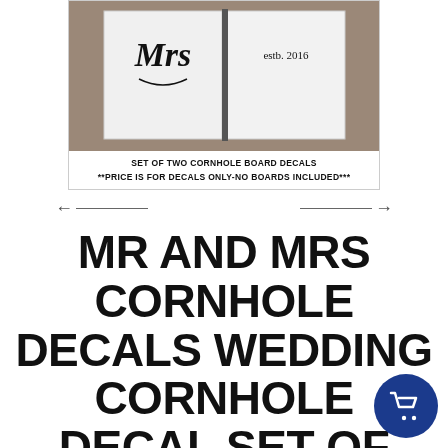[Figure (photo): Two white cornhole boards with Mr and Mrs wedding decals and 'estb. 2016' text, placed outdoors on stone/gravel surface. Boards shown in a bordered box.]
SET OF TWO CORNHOLE BOARD DECALS
**PRICE IS FOR DECALS ONLY-NO BOARDS INCLUDED***
← →
MR AND MRS CORNHOLE DECALS WEDDING CORNHOLE DECAL SET OF TWO DIY WEDDING BOARDS